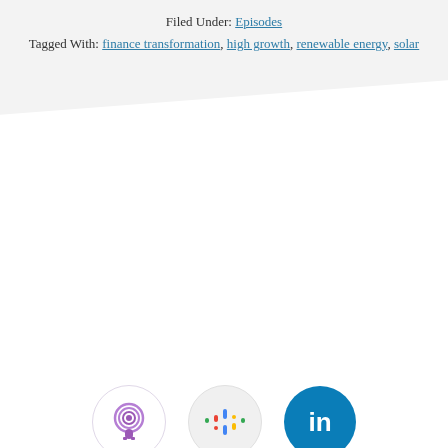Filed Under: Episodes
Tagged With: finance transformation, high growth, renewable energy, solar
[Figure (illustration): Three social media/podcast icons in a row: Apple Podcasts (purple circle with microphone), Google Podcasts (colorful sound wave bars on light grey circle), LinkedIn (white 'in' text on blue circle)]
Copyright © 2022 · CFO Thought Leader / Log in